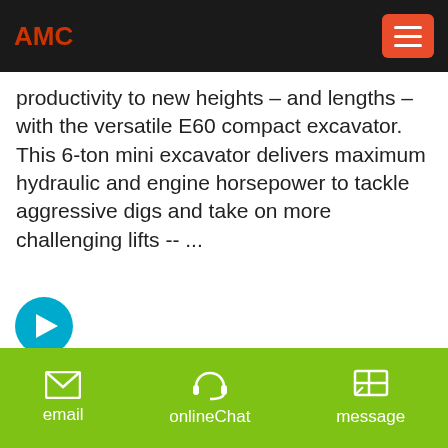AMC
productivity to new heights – and lengths – with the versatile E60 compact excavator. This 6-ton mini excavator delivers maximum hydraulic and engine horsepower to tackle aggressive digs and take on more challenging lifts -- ...
[Figure (other): Cyan circle with white right-arrow icon — navigation button]
[Figure (photo): Photo of an excavator on rocky terrain with dirt and hillside in background]
email   onlineChat   message